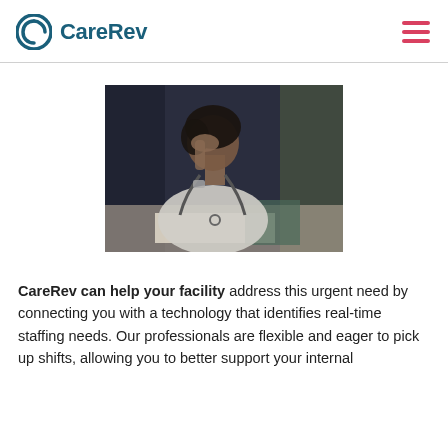CareRev
[Figure (photo): A female nurse or doctor with a stethoscope around her neck, resting her hand on her forehead in a stressed or fatigued pose, sitting at a desk with papers, dark blurred background.]
CareRev can help your facility address this urgent need by connecting you with a technology that identifies real-time staffing needs. Our professionals are flexible and eager to pick up shifts, allowing you to better support your internal